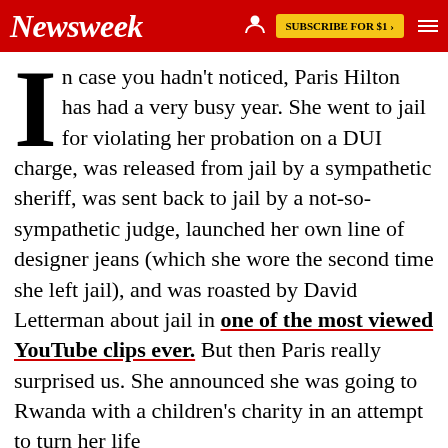Newsweek | SUBSCRIBE FOR $1 >
In case you hadn't noticed, Paris Hilton has had a very busy year. She went to jail for violating her probation on a DUI charge, was released from jail by a sympathetic sheriff, was sent back to jail by a not-so-sympathetic judge, launched her own line of designer jeans (which she wore the second time she left jail), and was roasted by David Letterman about jail in one of the most viewed YouTube clips ever. But then Paris really surprised us. She announced she was going to Rwanda with a children's charity in an attempt to turn her life